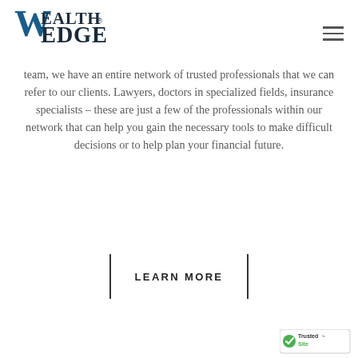[Figure (logo): Wealth Edge logo with stylized W and blue/dark text]
team, we have an entire network of trusted professionals that we can refer to our clients. Lawyers, doctors in specialized fields, insurance specialists – these are just a few of the professionals within our network that can help you gain the necessary tools to make difficult decisions or to help plan your financial future.
LEARN MORE
[Figure (logo): TrustedSite badge with green checkmark]